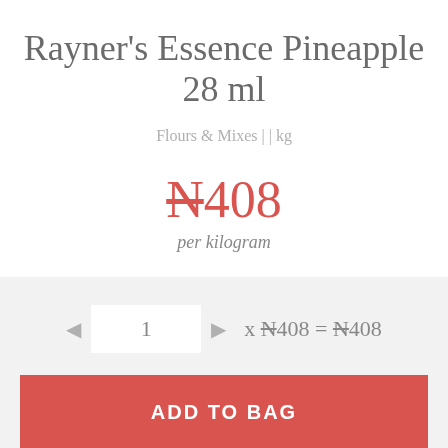Rayner's Essence Pineapple 28 ml
Flours & Mixes | | kg
₦408 per kilogram
◄ 1 ► x ₦408 = ₦408
ADD TO BAG